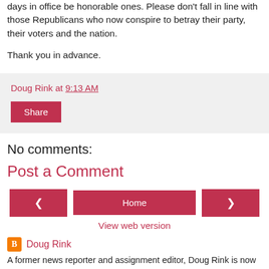days in office be honorable ones. Please don't fall in line with those Republicans who now conspire to betray their party, their voters and the nation.
Thank you in advance.
Doug Rink at 9:13 AM
Share
No comments:
Post a Comment
‹  Home  ›
View web version
Doug Rink
A former news reporter and assignment editor, Doug Rink is now an